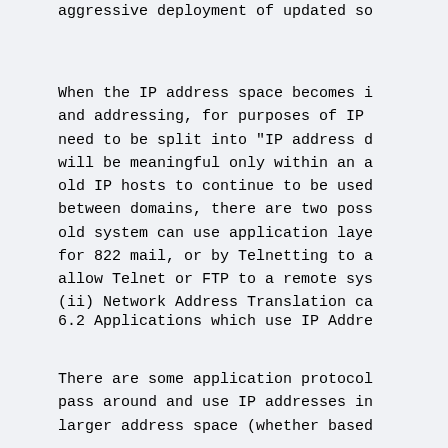aggressive deployment of updated so
When the IP address space becomes i
and addressing, for purposes of IP
need to be split into "IP address d
will be meaningful only within an a
old IP hosts to continue to be used
between domains, there are two poss
old system can use application laye
for 822 mail, or by Telnetting to a
allow Telnet or FTP to a remote sys
(ii) Network Address Translation ca
6.2 Applications which use IP Addre
There are some application protocol
pass around and use IP addresses in
larger address space (whether based